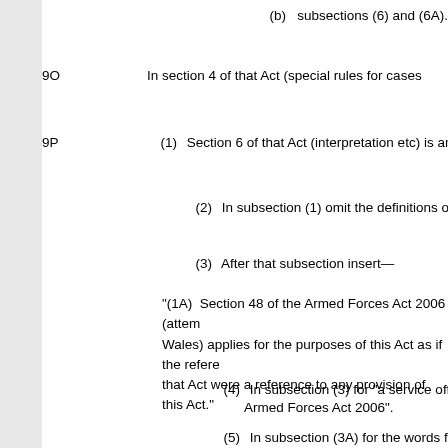(b)   subsections (6) and (6A).
9O    In section 4 of that Act (special rules for cases...
9P    (1)  Section 6 of that Act (interpretation etc) is ame...
(2)  In subsection (1) omit the definitions of "corres...
(3)  After that subsection insert—
"(1A)  Section 48 of the Armed Forces Act 2006 (attem... Wales) applies for the purposes of this Act as if the refere... that Act were a reference to any provision of this Act."
(4)  In subsection (3) for "a service offence" substi... Armed Forces Act 2006".
(5)  In subsection (3A) for the words from "a servic... substitute "an offence under section 42 of the... (under Part 5 of that Act) with the offence".
9Q    Omit section 7 of that Act (courts-martial).
9R    In section 8 of that Act (short title, commencen...
Criminal Justice...
9S    In section 39 of the Criminal Justice and Publi...